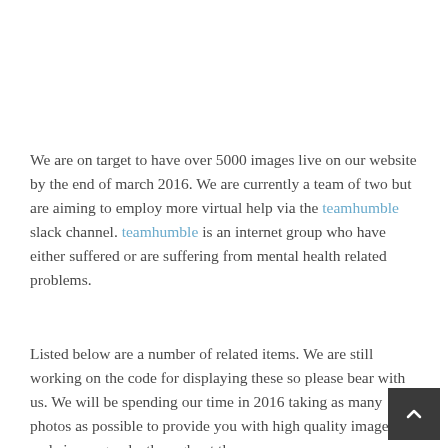We are on target to have over 5000 images live on our website by the end of march 2016.  We are currently a team of two but are aiming to employ more virtual help via the teamhumble slack channel. teamhumble is an internet group who have either suffered or are suffering from mental health related problems.
Listed below are a number of related items. We are still working on the code for displaying these so please bear with us.  We will be spending our time in 2016 taking as many photos as possible to provide you with high quality images and cinemagraphs throughout the year.